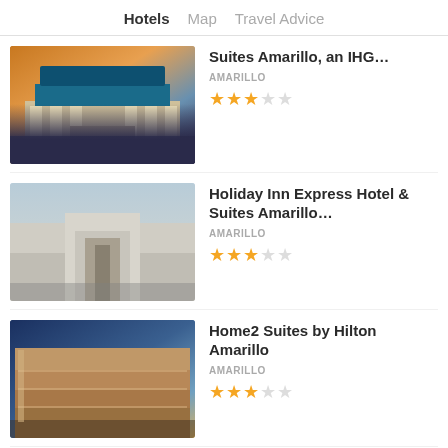Hotels  Map  Travel Advice
Suites Amarillo, an IHG... | AMARILLO | 2.5 stars
Holiday Inn Express Hotel & Suites Amarillo... | AMARILLO | 2.5 stars
Home2 Suites by Hilton Amarillo | AMARILLO | 3 stars